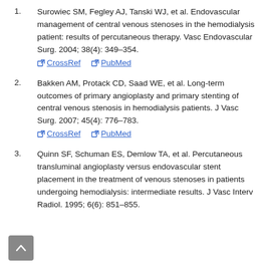1. Surowiec SM, Fegley AJ, Tanski WJ, et al. Endovascular management of central venous stenoses in the hemodialysis patient: results of percutaneous therapy. Vasc Endovascular Surg. 2004; 38(4): 349–354. [CrossRef] [PubMed]
2. Bakken AM, Protack CD, Saad WE, et al. Long-term outcomes of primary angioplasty and primary stenting of central venous stenosis in hemodialysis patients. J Vasc Surg. 2007; 45(4): 776–783. [CrossRef] [PubMed]
3. Quinn SF, Schuman ES, Demlow TA, et al. Percutaneous transluminal angioplasty versus endovascular stent placement in the treatment of venous stenoses in patients undergoing hemodialysis: intermediate results. J Vasc Interv Radiol. 1995; 6(6): 851–855.